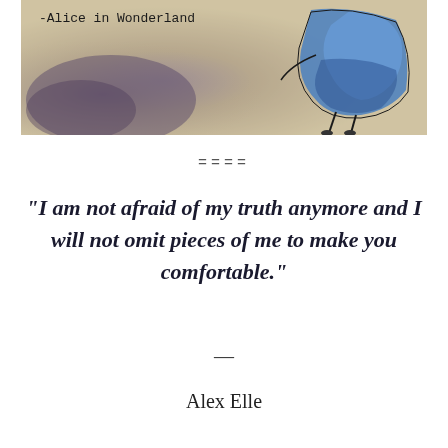[Figure (illustration): Illustration of Alice from Alice in Wonderland crouched/sitting, wearing a blue dress, on a textured beige/brown background with the text '-Alice in Wonderland' in typewriter font at top left.]
====
“I am not afraid of my truth anymore and I will not omit pieces of me to make you comfortable.”
—
Alex Elle